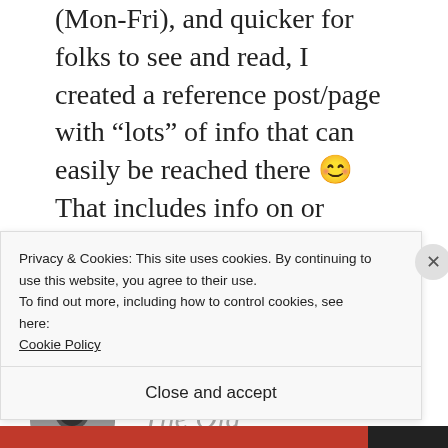(Mon-Fri), and quicker for folks to see and read, I created a reference post/page with “lots” of info that can easily be reached there 😊 That includes info on or about [...]
★ Liked by 1 person
REPLY
[Figure (photo): Circular avatar image of a person in dark clothing]
The Old
Privacy & Cookies: This site uses cookies. By continuing to use this website, you agree to their use.
To find out more, including how to control cookies, see here: Cookie Policy
Close and accept